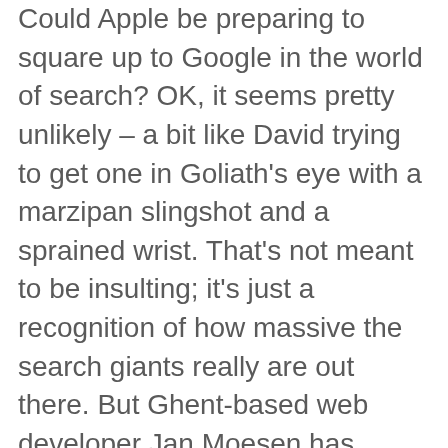Could Apple be preparing to square up to Google in the world of search? OK, it seems pretty unlikely – a bit like David trying to get one in Goliath's eye with a marzipan slingshot and a sprained wrist. That's not meant to be insulting; it's just a recognition of how massive the search giants really are out there. But Ghent-based web developer Jan Moesen has nonetheless noticed something interesting: Apple seems to be crawling websites with its very own automated bot.
Does this hold promise for the rise of another algorithm-driven means of filtering your content or might it be rather more modest? Everyone involved in digital video production and online content would like to know the answer to that one. But